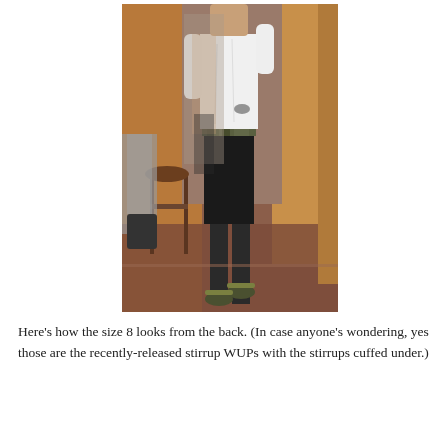[Figure (photo): Photo of a person standing in what appears to be a dressing room, viewed from the back. They are wearing a white long-sleeve top, dark leggings/pants with a camouflage waistband, and olive/dark sneakers. A wooden stool and clothes hanging on a rack are visible in the background, along with a mirror reflection.]
Here's how the size 8 looks from the back. (In case anyone's wondering, yes those are the recently-released stirrup WUPs with the stirrups cuffed under.)